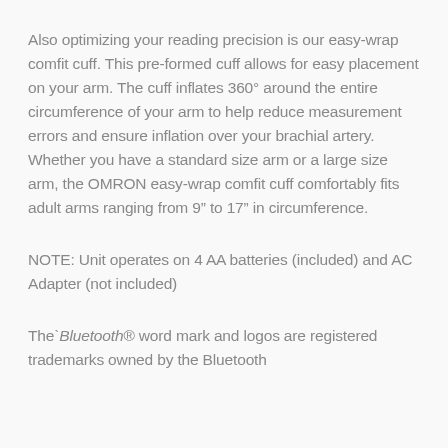Also optimizing your reading precision is our easy-wrap comfit cuff. This pre-formed cuff allows for easy placement on your arm. The cuff inflates 360° around the entire circumference of your arm to help reduce measurement errors and ensure inflation over your brachial artery. Whether you have a standard size arm or a large size arm, the OMRON easy-wrap comfit cuff comfortably fits adult arms ranging from 9" to 17" in circumference.
NOTE: Unit operates on 4 AA batteries (included) and AC Adapter (not included)
The` Bluetooth® word mark and logos are registered trademarks owned by the Bluetooth